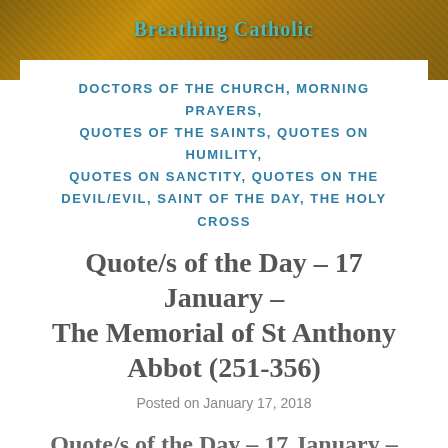Breathing Catholic
DOCTORS OF THE CHURCH, MORNING PRAYERS, QUOTES OF THE SAINTS, QUOTES ON HUMILITY, QUOTES ON SANCTITY, QUOTES ON THE DEVIL/EVIL, SAINT OF THE DAY, THE HOLY CROSS
Quote/s of the Day – 17 January – The Memorial of St Anthony Abbot (251-356)
Posted on January 17, 2018
Quote/s of the Day – 17 January – The Memorial of St Anthony Abbot (251-356)